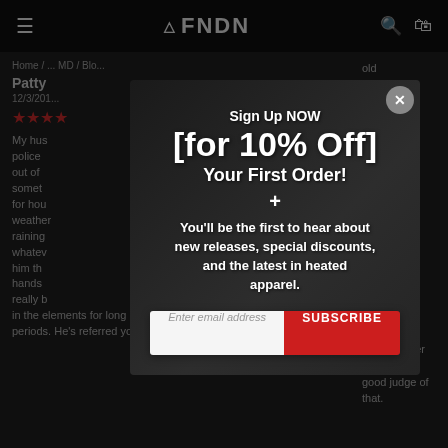≡  FNDN  🔍 🛍
Home / ... MD / Blo...
Patty
12/3/201...
★★★★
My hus... police... out of... somet... for hou... weather... raining... whatev... him th... hands... really b... in the elements for long periods. He's referred your
old h, Va from ow me of high a out ave to ter ver main ity of ntry d Lad and consider myself a good judge of that.
[Figure (screenshot): Email signup modal popup overlay on FNDN website. Modal shows two people wearing heated jackets. Text reads: Sign Up NOW [for 10% Off] Your First Order! + You'll be the first to hear about new releases, special discounts, and the latest in heated apparel. Email input field and SUBSCRIBE button.]
Sign Up NOW
[for 10% Off]
Your First Order!
+
You'll be the first to hear about new releases, special discounts, and the latest in heated apparel.
Enter email address
SUBSCRIBE